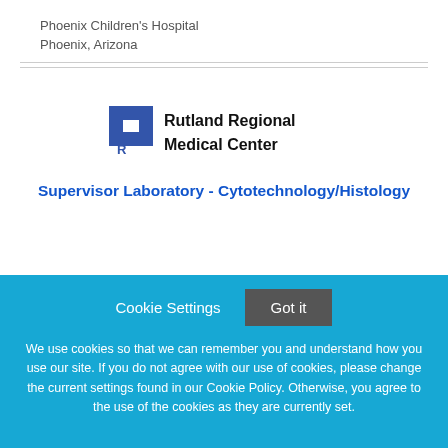Phoenix Children's Hospital
Phoenix, Arizona
[Figure (logo): Rutland Regional Medical Center logo with blue cross symbol and text]
Supervisor Laboratory - Cytotechnology/Histology
Cookie Settings  Got it
We use cookies so that we can remember you and understand how you use our site. If you do not agree with our use of cookies, please change the current settings found in our Cookie Policy. Otherwise, you agree to the use of the cookies as they are currently set.